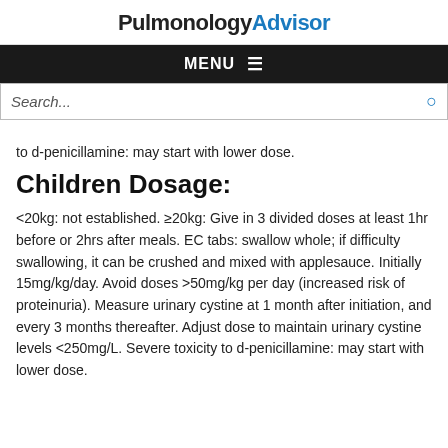PulmonologyAdvisor
MENU
Search...
to d-penicillamine: may start with lower dose.
Children Dosage:
<20kg: not established. ≥20kg: Give in 3 divided doses at least 1hr before or 2hrs after meals. EC tabs: swallow whole; if difficulty swallowing, it can be crushed and mixed with applesauce. Initially 15mg/kg/day. Avoid doses >50mg/kg per day (increased risk of proteinuria). Measure urinary cystine at 1 month after initiation, and every 3 months thereafter. Adjust dose to maintain urinary cystine levels <250mg/L. Severe toxicity to d-penicillamine: may start with lower dose.